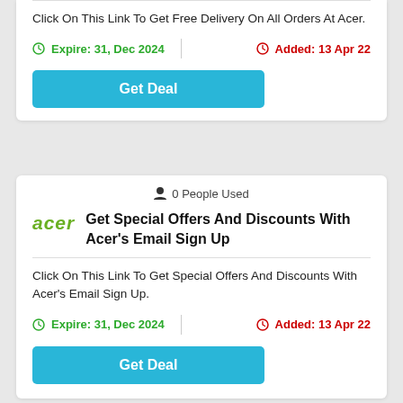Click On This Link To Get Free Delivery On All Orders At Acer.
Expire: 31, Dec 2024 | Added: 13 Apr 22
Get Deal
0 People Used
Get Special Offers And Discounts With Acer's Email Sign Up
Click On This Link To Get Special Offers And Discounts With Acer's Email Sign Up.
Expire: 31, Dec 2024 | Added: 13 Apr 22
Get Deal